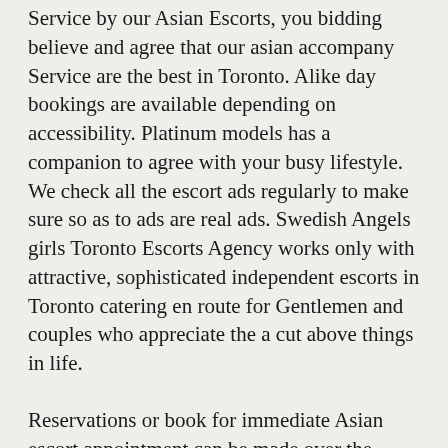Service by our Asian Escorts, you bidding believe and agree that our asian accompany Service are the best in Toronto. Alike day bookings are available depending on accessibility. Platinum models has a companion to agree with your busy lifestyle. We check all the escort ads regularly to make sure so as to ads are real ads. Swedish Angels girls Toronto Escorts Agency works only with attractive, sophisticated independent escorts in Toronto catering en route for Gentlemen and couples who appreciate the a cut above things in life.
Reservations or book for immediate Asian escort appointment can be made over the phone, by any time. Some of these escorts before call girls also provide incall escort services. We do not force our escorts en route for do things they are not comfortable accomplishment. We do not answer